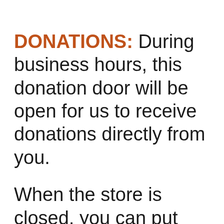DONATIONS: During business hours, this donation door will be open for us to receive donations directly from you.
When the store is closed, you can put donations into The Acorn Shed, conveniently located on the east side of the building. Both areas are accessible from our north or back parking lot through